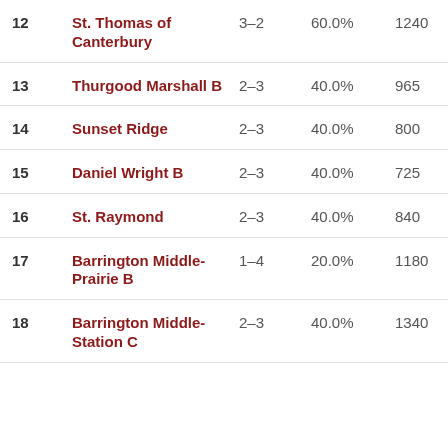| Rank | Name | Record | Pct | Pts | Opp | Last |
| --- | --- | --- | --- | --- | --- | --- |
| 12 | St. Thomas of Canterbury | 3–2 | 60.0% | 1240 | 100 | 8 |
| 13 | Thurgood Marshall B | 2–3 | 40.0% | 965 | 100 | 15 |
| 14 | Sunset Ridge | 2–3 | 40.0% | 800 | 100 | 7 |
| 15 | Daniel Wright B | 2–3 | 40.0% | 725 | 100 | 6 |
| 16 | St. Raymond | 2–3 | 40.0% | 840 | 100 | 11 |
| 17 | Barrington Middle-Prairie B | 1–4 | 20.0% | 1180 | 100 | 17 |
| 18 | Barrington Middle-Station C | 2–3 | 40.0% | 1340 | 100 | 16 |